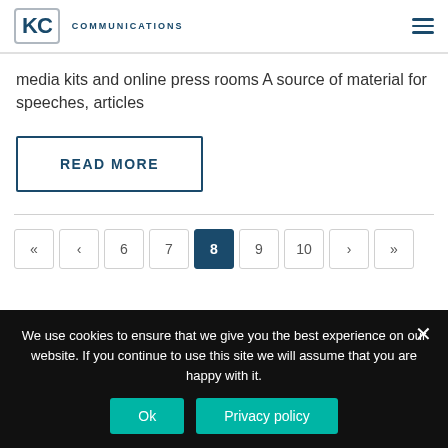KC COMMUNICATIONS
media kits and online press rooms A source of material for speeches, articles
READ MORE
« < 6 7 8 9 10 > »
We use cookies to ensure that we give you the best experience on our website. If you continue to use this site we will assume that you are happy with it.